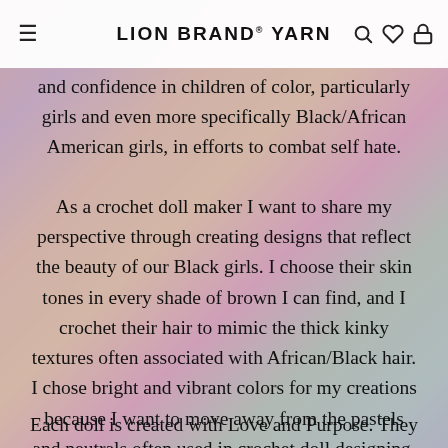LION BRAND® YARN
and confidence in children of color, particularly girls and even more specifically Black/African American girls, in efforts to combat self hate.
As a crochet doll maker I want to share my perspective through creating designs that reflect the beauty of our Black girls. I choose their skin tones in every shade of brown I can find, and I crochet their hair to mimic the thick kinky textures often associated with African/Black hair. I chose bright and vibrant colors for my creations because I want to move away from the pastels and neutrals often used in crochet doll designing. It is important that I design dolls that reconnect me with my African roots.
Each doll is created with Love and Purpose. They are teaching tools, used to show, not just the crochet world but the wider world that beauty comes in every